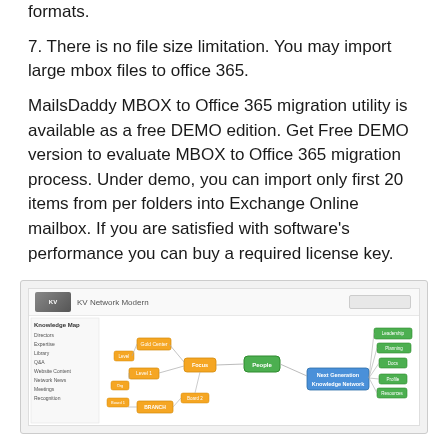formats.
7. There is no file size limitation. You may import large mbox files to office 365.
MailsDaddy MBOX to Office 365 migration utility is available as a free DEMO edition. Get Free DEMO version to evaluate MBOX to Office 365 migration process. Under demo, you can import only first 20 items from per folders into Exchange Online mailbox. If you are satisfied with software’s performance you can buy a required license key.
[Figure (screenshot): Screenshot of KV Network Modern knowledge map/mind map application showing a network diagram with various nodes and connections, including a blue 'Next Generation Knowledge Network' node in the center-right.]